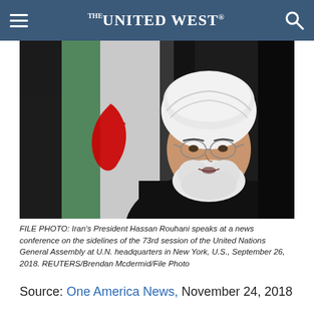THE UNITED WEST.
[Figure (photo): FILE PHOTO: Iran's President Hassan Rouhani speaks at a news conference, with Iranian flag visible in background. Close-up portrait showing man with white turban and beard wearing glasses.]
FILE PHOTO: Iran's President Hassan Rouhani speaks at a news conference on the sidelines of the 73rd session of the United Nations General Assembly at U.N. headquarters in New York, U.S., September 26, 2018. REUTERS/Brendan Mcdermid/File Photo
Source: One America News, November 24, 2018